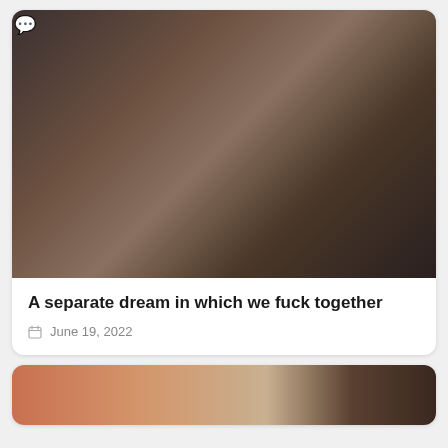[Figure (photo): A woman in dark lingerie reclined in a chair reaching toward a standing man, in a dimly lit room]
A separate dream in which we fuck together
June 19, 2022
[Figure (photo): Partial view of a person and a woman with dark hair looking upward, second card preview]